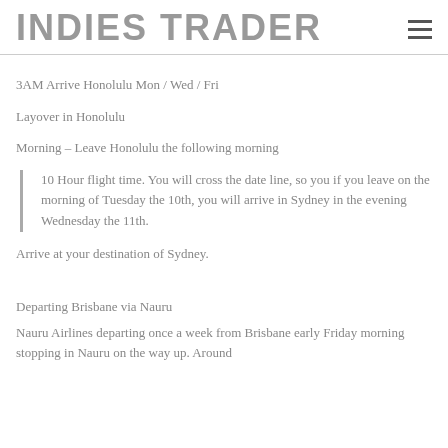INDIES TRADER
3AM Arrive Honolulu Mon / Wed / Fri
Layover in Honolulu
Morning – Leave Honolulu the following morning
10 Hour flight time. You will cross the date line, so you if you leave on the morning of Tuesday the 10th, you will arrive in Sydney in the evening Wednesday the 11th.
Arrive at your destination of Sydney.
Departing Brisbane via Nauru
Nauru Airlines departing once a week from Brisbane early Friday morning stopping in Nauru on the way up. Around